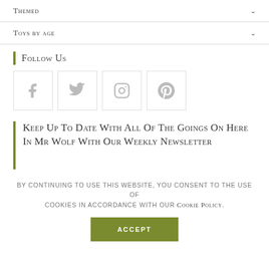Themed
Toys by age
Follow Us
[Figure (illustration): Four social media icon boxes: Facebook, Twitter, Instagram, Pinterest]
Keep Up To Date With All Of The Goings On Here In Mr Wolf With Our Weekly Newsletter
By continuing to use this website, you consent to the use of cookies in accordance with our Cookie Policy.
ACCEPT